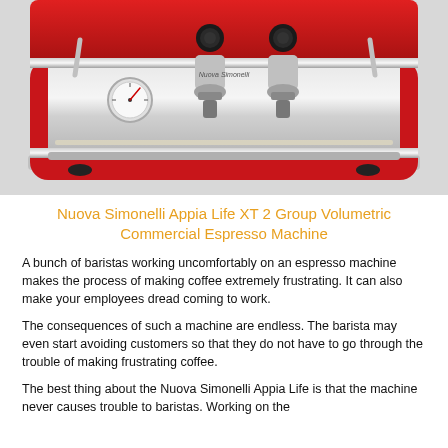[Figure (photo): Nuova Simonelli Appia Life XT 2 Group commercial espresso machine in red and stainless steel, viewed from the front, showing two group heads with portafilters, a pressure gauge, and chrome detailing.]
Nuova Simonelli Appia Life XT 2 Group Volumetric Commercial Espresso Machine
A bunch of baristas working uncomfortably on an espresso machine makes the process of making coffee extremely frustrating. It can also make your employees dread coming to work.
The consequences of such a machine are endless. The barista may even start avoiding customers so that they do not have to go through the trouble of making frustrating coffee.
The best thing about the Nuova Simonelli Appia Life is that the machine never causes trouble to baristas. Working on the